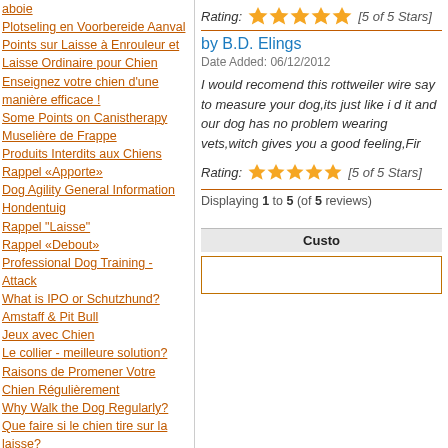aboie
Plotseling en Voorbereide Aanval
Points sur Laisse à Enrouleur et Laisse Ordinaire pour Chien
Enseignez votre chien d'une manière efficace !
Some Points on Canistherapy
Muselière de Frappe
Produits Interdits aux Chiens
Rappel «Apporte»
Dog Agility General Information
Hondentuig
Rappel "Laisse"
Rappel «Debout»
Professional Dog Training - Attack
What is IPO or Schutzhund?
Amstaff & Pit Bull
Jeux avec Chien
Le collier - meilleure solution?
Raisons de Promener Votre Chien Régulièrement
Why Walk the Dog Regularly?
Que faire si le chien tire sur la laisse?
Ski Joëring, Bike Jöring, Cani Cross
Mon chien mange des pierres
Mon chien a une tique, que dois-je faire ?
Rappel "Au pied"
RCI, CUM, ChA - qu'est-ce que c'est ?
Rating: [5 of 5 Stars]
by B.D. Elings
Date Added: 06/12/2012
I would recomend this rottweiler wire say to measure your dog,its just like i d it and our dog has no problem wearing vets,witch gives you a good feeling,Fir
Rating: [5 of 5 Stars]
Displaying 1 to 5 (of 5 reviews)
Custo